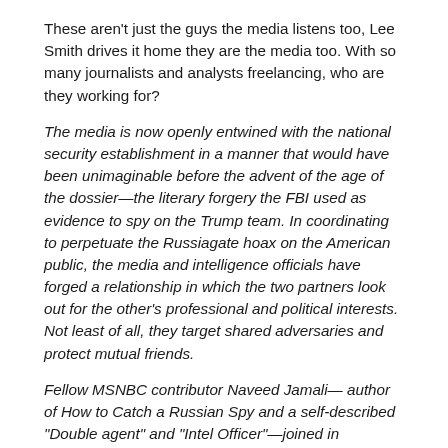These aren't just the guys the media listens too, Lee Smith drives it home they are the media too. With so many journalists and analysts freelancing, who are they working for?
The media is now openly entwined with the national security establishment in a manner that would have been unimaginable before the advent of the age of the dossier—the literary forgery the FBI used as evidence to spy on the Trump team. In coordinating to perpetuate the Russiagate hoax on the American public, the media and intelligence officials have forged a relationship in which the two partners look out for the other's professional and political interests. Not least of all, they target shared adversaries and protect mutual friends.
Fellow MSNBC contributor Naveed Jamali— author of How to Catch a Russian Spy and a self-described "Double agent" and "Intel Officer"—joined in tweeting: "Here's the other thing to understand about espionage: once you've crossed the line once, the second time is easier. While at DIA Flynn had contact with Svetlana Lokhova who allegedly has Russian intel ties."
Lokhova is seeking $25 million from NBC, the New York Times, the Washington Post, Dow Jones & Co., owner of the Wall Street